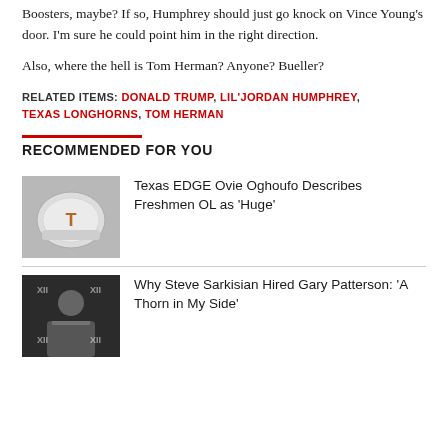Boosters, maybe? If so, Humphrey should just go knock on Vince Young's door. I'm sure he could point him in the right direction.
Also, where the hell is Tom Herman? Anyone? Bueller?
RELATED ITEMS: DONALD TRUMP, LIL'JORDAN HUMPHREY, TEXAS LONGHORNS, TOM HERMAN
RECOMMENDED FOR YOU
Texas EDGE Ovie Oghoufo Describes Freshmen OL as 'Huge'
Why Steve Sarkisian Hired Gary Patterson: 'A Thorn in My Side'